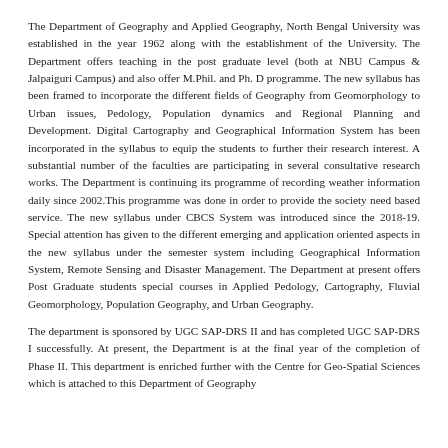The Department of Geography and Applied Geography, North Bengal University was established in the year 1962 along with the establishment of the University. The Department offers teaching in the post graduate level (both at NBU Campus & Jalpaiguri Campus) and also offer M.Phil. and Ph. D programme. The new syllabus has been framed to incorporate the different fields of Geography from Geomorphology to Urban issues, Pedology, Population dynamics and Regional Planning and Development. Digital Cartography and Geographical Information System has been incorporated in the syllabus to equip the students to further their research interest. A substantial number of the faculties are participating in several consultative research works. The Department is continuing its programme of recording weather information daily since 2002.This programme was done in order to provide the society need based service. The new syllabus under CBCS System was introduced since the 2018-19. Special attention has given to the different emerging and application oriented aspects in the new syllabus under the semester system including Geographical Information System, Remote Sensing and Disaster Management. The Department at present offers Post Graduate students special courses in Applied Pedology, Cartography, Fluvial Geomorphology, Population Geography, and Urban Geography.
The department is sponsored by UGC SAP-DRS II and has completed UGC SAP-DRS I successfully. At present, the Department is at the final year of the completion of Phase II. This department is enriched further with the Centre for Geo-Spatial Sciences which is attached to this Department of Geography